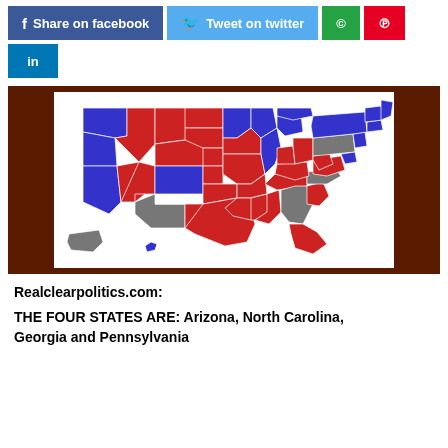[Figure (other): Social media share buttons: Facebook, Twitter, WhatsApp, Pinterest, LinkedIn]
[Figure (map): US Electoral map showing states colored red (Republican), blue (Democrat), and gray (toss-up). Gray states include Arizona, North Carolina, Georgia, and Pennsylvania.]
Realclearpolitics.com:
THE FOUR STATES ARE: Arizona, North Carolina, Georgia and Pennsylvania